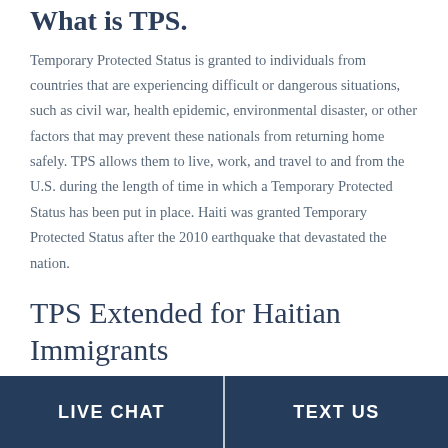What is TPS?
Temporary Protected Status is granted to individuals from countries that are experiencing difficult or dangerous situations, such as civil war, health epidemic, environmental disaster, or other factors that may prevent these nationals from returning home safely. TPS allows them to live, work, and travel to and from the U.S. during the length of time in which a Temporary Protected Status has been put in place. Haiti was granted Temporary Protected Status after the 2010 earthquake that devastated the nation.
TPS Extended for Haitian Immigrants
LIVE CHAT | TEXT US